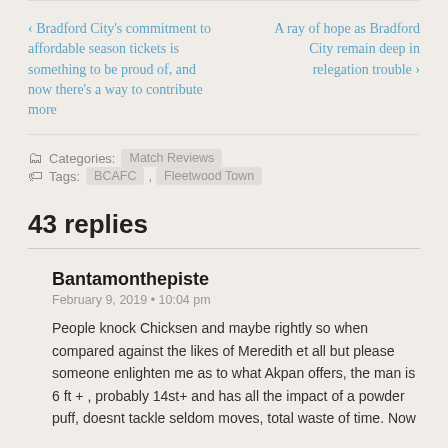‹ Bradford City's commitment to affordable season tickets is something to be proud of, and now there's a way to contribute more
A ray of hope as Bradford City remain deep in relegation trouble ›
Categories: Match Reviews   Tags: BCAFC, Fleetwood Town
43 replies
Bantamonthepiste
February 9, 2019 • 10:04 pm
People knock Chicksen and maybe rightly so when compared against the likes of Meredith et all but please someone enlighten me as to what Akpan offers, the man is 6 ft + , probably 14st+ and has all the impact of a powder puff, doesnt tackle seldom moves, total waste of time. Now